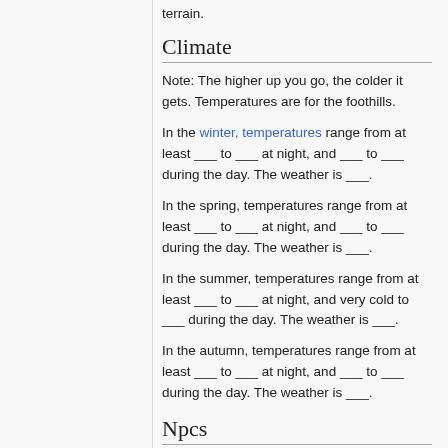terrain.
Climate
Note: The higher up you go, the colder it gets. Temperatures are for the foothills.
In the winter, temperatures range from at least ___ to ___ at night, and ___ to ___ during the day. The weather is ___.
In the spring, temperatures range from at least ___ to ___ at night, and ___ to ___ during the day. The weather is ___.
In the summer, temperatures range from at least ___ to ___ at night, and very cold to ___ during the day. The weather is ___.
In the autumn, temperatures range from at least ___ to ___ at night, and ___ to ___ during the day. The weather is ___.
Npcs
The following npcs are found in this terrain:
Bears: white bears